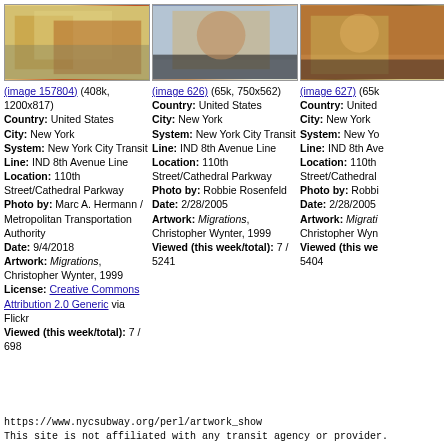[Figure (photo): Thumbnail photo of artwork in transit station, image 157804]
(image 157804) (408k, 1200x817)
Country: United States
City: New York
System: New York City Transit
Line: IND 8th Avenue Line
Location: 110th Street/Cathedral Parkway
Photo by: Marc A. Hermann / Metropolitan Transportation Authority
Date: 9/4/2018
Artwork: Migrations, Christopher Wynter, 1999
License: Creative Commons Attribution 2.0 Generic via Flickr
Viewed (this week/total): 7 / 698
[Figure (photo): Thumbnail photo of artwork in transit station, image 626]
(image 626) (65k, 750x562)
Country: United States
City: New York
System: New York City Transit
Line: IND 8th Avenue Line
Location: 110th Street/Cathedral Parkway
Photo by: Robbie Rosenfeld
Date: 2/28/2005
Artwork: Migrations, Christopher Wynter, 1999
Viewed (this week/total): 7 / 5241
[Figure (photo): Thumbnail photo of artwork in transit station, image 627 (cropped)]
(image 627) (65k...
Country: United...
City: New York
System: New Yo...
Line: IND 8th Ave...
Location: 110th Street/Cathedral...
Photo by: Robbi...
Date: 2/28/2005
Artwork: Migrati... Christopher Wyn...
Viewed (this we... 5404
https://www.nycsubway.org/perl/artwork_show
This site is not affiliated with any transit agency or provider.